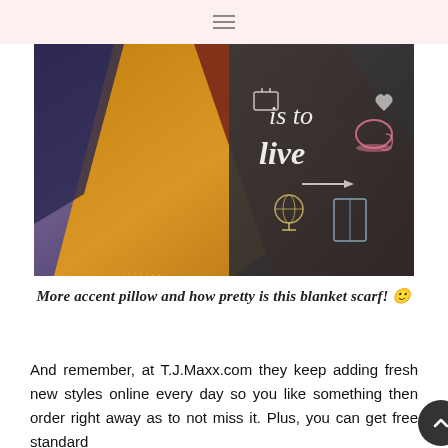[Figure (photo): Photo of colorful plaid blanket scarves in orange, gold, navy and burgundy, alongside a chalkboard with illustrated travel/life motifs and the words 'is to live']
More accent pillow and how pretty is this blanket scarf! 🙂
And remember, at T.J.Maxx.com they keep adding fresh new styles online every day so you like something then order right away as to not miss it. Plus, you can get free standard